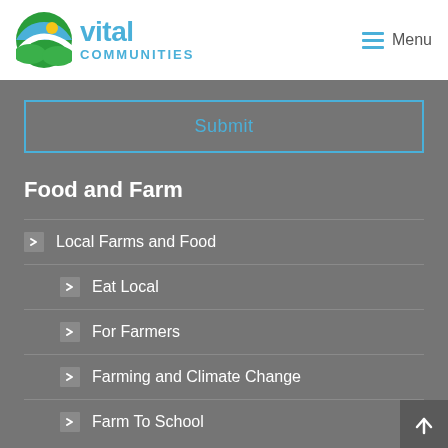[Figure (logo): Vital Communities logo — circular icon with green, blue, and yellow design, followed by 'vital COMMUNITIES' text in blue]
Menu
Submit
Food and Farm
Local Farms and Food
Eat Local
For Farmers
Farming and Climate Change
Farm To School